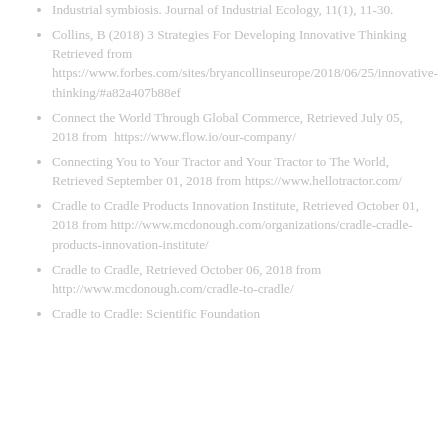Industrial symbiosis. Journal of Industrial Ecology, 11(1), 11-30.
Collins, B (2018) 3 Strategies For Developing Innovative Thinking Retrieved from https://www.forbes.com/sites/bryancollinseurope/2018/06/25/innovative-thinking/#a82a407b88ef
Connect the World Through Global Commerce, Retrieved July 05, 2018 from  https://www.flow.io/our-company/
Connecting You to Your Tractor and Your Tractor to The World, Retrieved September 01, 2018 from https://www.hellotractor.com/
Cradle to Cradle Products Innovation Institute, Retrieved October 01, 2018 from http://www.mcdonough.com/organizations/cradle-cradle-products-innovation-institute/
Cradle to Cradle, Retrieved October 06, 2018 from http://www.mcdonough.com/cradle-to-cradle/
Cradle to Cradle: Scientific Foundation